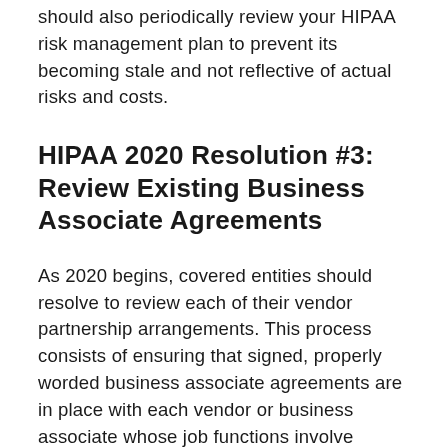should also periodically review your HIPAA risk management plan to prevent its becoming stale and not reflective of actual risks and costs.
HIPAA 2020 Resolution #3: Review Existing Business Associate Agreements
As 2020 begins, covered entities should resolve to review each of their vendor partnership arrangements. This process consists of ensuring that signed, properly worded business associate agreements are in place with each vendor or business associate whose job functions involve coming into contact with ePHI. Reviewing these agreements is not a “one and done”